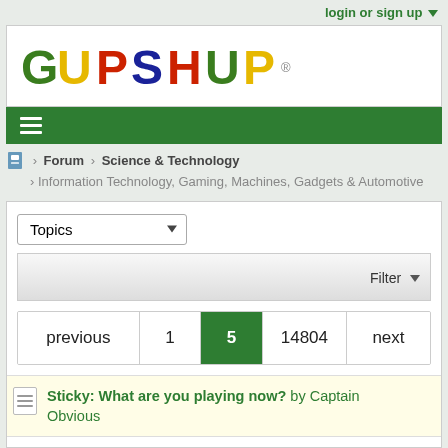login or sign up ▾
[Figure (logo): Gupshup logo with multicolored letters on white background]
≡ (hamburger menu on green navigation bar)
🏠 > Forum > Science & Technology > Information Technology, Gaming, Machines, Gadgets & Automotive
Topics ▾ | Filter ▾
previous  1  5  14804  next
Sticky: What are you playing now? by Captain Obvious